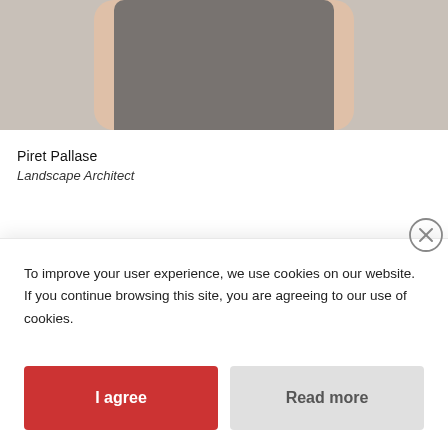[Figure (photo): Partial photo of a person wearing a gray top, cropped at the torso level, with a light neutral background]
Piret Pallase
Landscape Architect
To improve your user experience, we use cookies on our website. If you continue browsing this site, you are agreeing to our use of cookies.
I agree
Read more